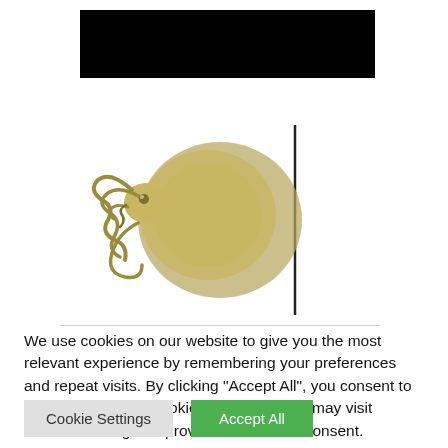[Figure (logo): Black redacted bar covering website header/logo area]
[Figure (illustration): A stylized golden/olive-colored insect or tick logo with curling appendages, next to a vertical black divider line, on a white background]
We use cookies on our website to give you the most relevant experience by remembering your preferences and repeat visits. By clicking "Accept All", you consent to the use of ALL the cookies. However, you may visit "Cookie Settings" to provide a controlled consent.
Cookie Settings | Accept All